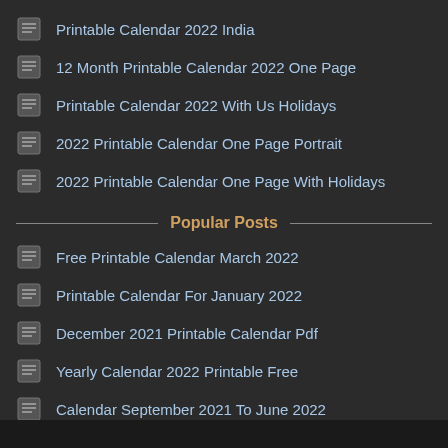Printable Calendar 2022 India
12 Month Printable Calendar 2022 One Page
Printable Calendar 2022 With Us Holidays
2022 Printable Calendar One Page Portrait
2022 Printable Calendar One Page With Holidays
Popular Posts
Free Printable Calendar March 2022
Printable Calendar For January 2022
December 2021 Printable Calendar Pdf
Yearly Calendar 2022 Printable Free
Calendar September 2021 To June 2022